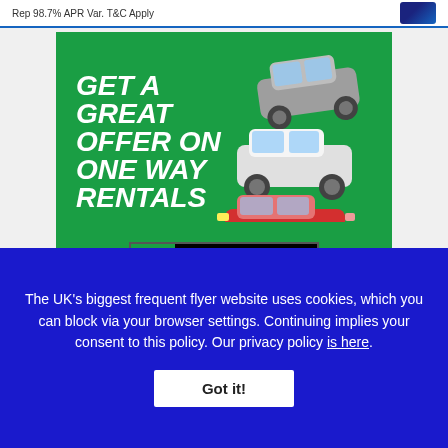Rep 98.7% APR Var. T&C Apply
[Figure (illustration): Enterprise Rent-a-Car advertisement on green background. Bold italic white text reads 'GET A GREAT OFFER ON ONE WAY RENTALS'. Three cars (grey hatchback, silver car, red small car) shown on the right. Enterprise rent-a-car logo at the bottom of the ad.]
The UK's biggest frequent flyer website uses cookies, which you can block via your browser settings. Continuing implies your consent to this policy. Our privacy policy is here.
Got it!